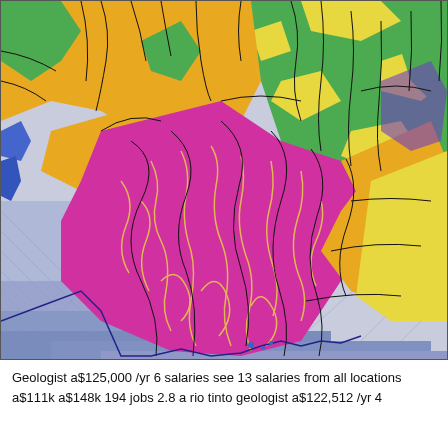[Figure (map): Geological map showing rock formations and fault lines. Regions colored in magenta/pink (large central area), orange/amber, green, yellow, blue/lavender (coastal/offshore areas), and dark purple. Black lines represent fault lines and structural geology features overlaid on the colored regions. The map appears to show a coastal geological survey area.]
Geologist a$125,000 /yr 6 salaries see 13 salaries from all locations a$111k a$148k 194 jobs 2.8 a rio tinto geologist a$122,512 /yr 4